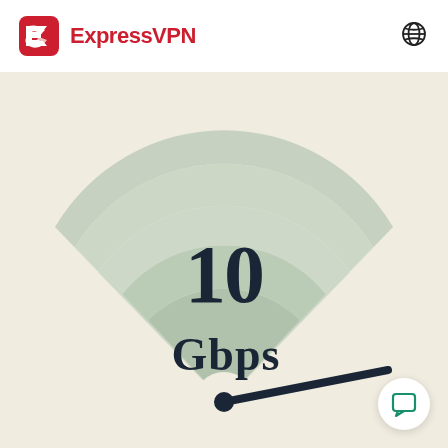[Figure (logo): ExpressVPN logo with red shield/E icon and red ExpressVPN text]
[Figure (infographic): Speed gauge infographic showing a WiFi-style fan shape with multiple concentric arcs in muted green/teal tones, a dark needle pointing right, and large bold text '10 Gbps' in the center]
[Figure (illustration): Globe/language icon in top right corner of header]
[Figure (illustration): Chat bubble icon inside a circular white button in bottom right corner]